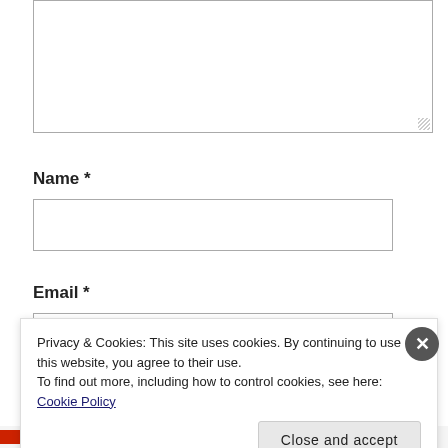[Figure (screenshot): Empty textarea form field with resize handle in bottom-right corner]
Name *
[Figure (screenshot): Empty text input field for Name]
Email *
[Figure (screenshot): Empty text input field for Email (partially visible)]
Privacy & Cookies: This site uses cookies. By continuing to use this website, you agree to their use.
To find out more, including how to control cookies, see here:
Cookie Policy
Close and accept